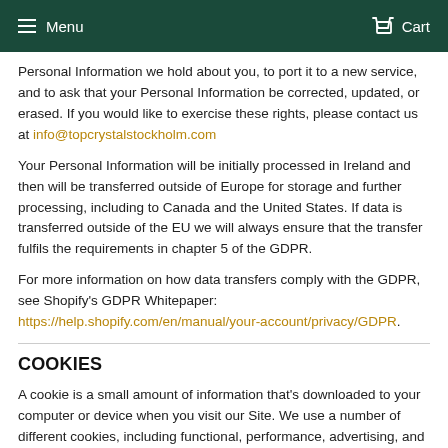Menu  Cart
Personal Information we hold about you, to port it to a new service, and to ask that your Personal Information be corrected, updated, or erased. If you would like to exercise these rights, please contact us at info@topcrystalstockholm.com
Your Personal Information will be initially processed in Ireland and then will be transferred outside of Europe for storage and further processing, including to Canada and the United States. If data is transferred outside of the EU we will always ensure that the transfer fulfils the requirements in chapter 5 of the GDPR.
For more information on how data transfers comply with the GDPR, see Shopify's GDPR Whitepaper: https://help.shopify.com/en/manual/your-account/privacy/GDPR.
COOKIES
A cookie is a small amount of information that's downloaded to your computer or device when you visit our Site. We use a number of different cookies, including functional, performance, advertising, and